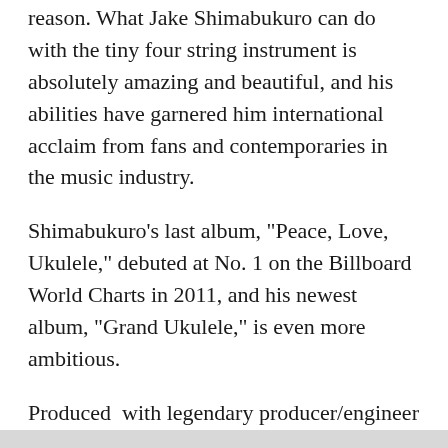reason. What Jake Shimabukuro can do with the tiny four string instrument is absolutely amazing and beautiful, and his abilities have garnered him international acclaim from fans and contemporaries in the music industry.
Shimabukuro's last album, "Peace, Love, Ukulele," debuted at No. 1 on the Billboard World Charts in 2011, and his newest album, "Grand Ukulele," is even more ambitious.
Produced  with legendary producer/engineer Alan Parsons, best known for his work on Pink Floyd's "Dark Side of the Moon" and the Beatles' "Abbey Road," includes renditions of Sting's "Fields of Gold" and Adele's "Rolling in the Deep."